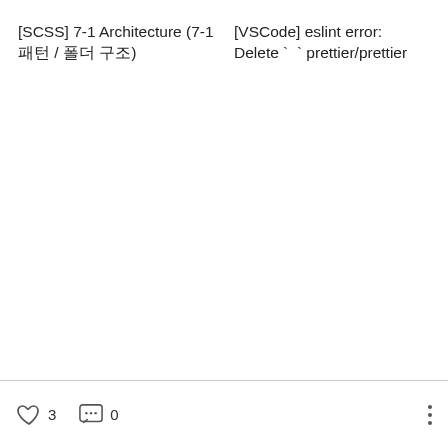[SCSS] 7-1 Architecture (7-1 패턴 / 폴더 구조)
[VSCode] eslint error: Delete ` ` prettier/prettier